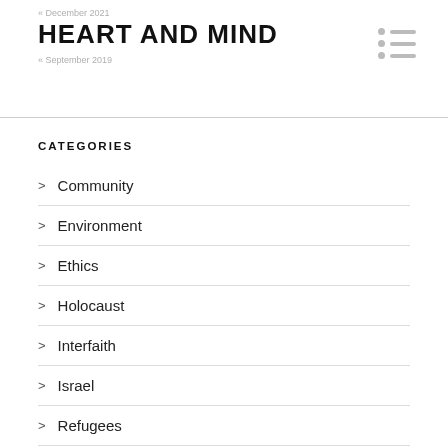« December 2021
HEART AND MIND
« September 2019
CATEGORIES
> Community
> Environment
> Ethics
> Holocaust
> Interfaith
> Israel
> Refugees
> Spirituality
> The Jewish Year